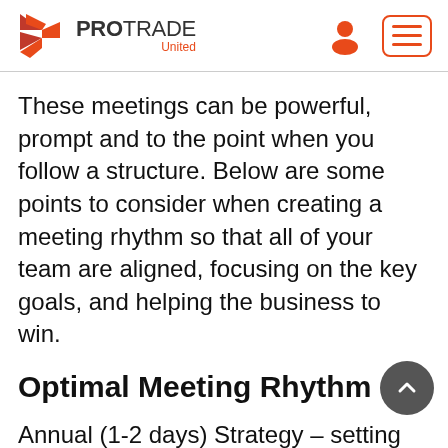ProTrade United
These meetings can be powerful, prompt and to the point when you follow a structure. Below are some points to consider when creating a meeting rhythm so that all of your team are aligned, focusing on the key goals, and helping the business to win.
Optimal Meeting Rhythm
Annual (1-2 days) Strategy – setting the